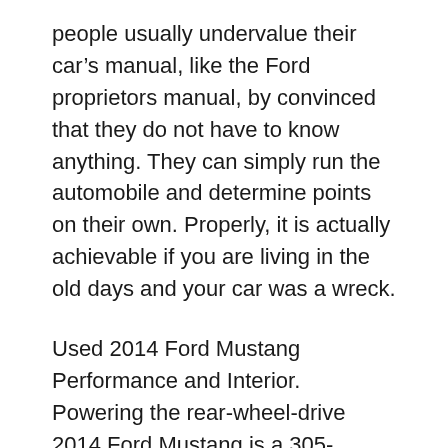people usually undervalue their car's manual, like the Ford proprietors manual, by convinced that they do not have to know anything. They can simply run the automobile and determine points on their own. Properly, it is actually achievable if you are living in the old days and your car was a wreck.
Used 2014 Ford Mustang Performance and Interior. Powering the rear-wheel-drive 2014 Ford Mustang is a 305-horsepower V6 engine that delivers quick, effortless acceleration. A six-speed manual transmission is standard, and a six-speed automatic is available. For exhilarating power, two more engines are available: the Mustang GT's 420-horsepower Used 2014 Ford